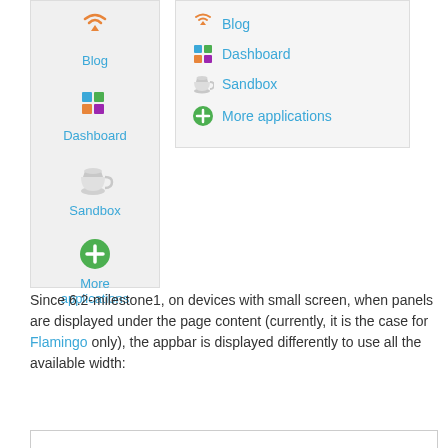[Figure (screenshot): Left vertical app bar panel showing Blog, Dashboard, Sandbox, and More applications icons with labels in blue]
[Figure (screenshot): Right dropdown panel showing Blog, Dashboard, Sandbox list items with icons and More applications link with green plus icon]
Since 6.2-milestone1, on devices with small screen, when panels are displayed under the page content (currently, it is the case for Flamingo only), the appbar is displayed differently to use all the available width: